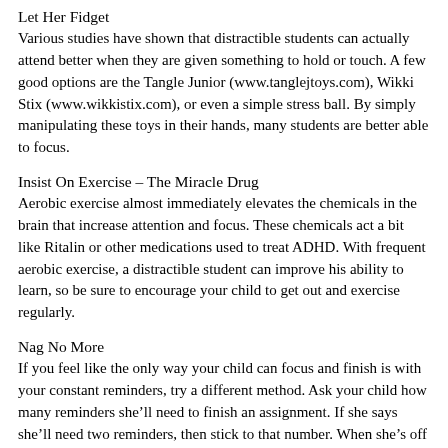Let Her Fidget
Various studies have shown that distractible students can actually attend better when they are given something to hold or touch. A few good options are the Tangle Junior (www.tanglejtoys.com), Wikki Stix (www.wikkistix.com), or even a simple stress ball. By simply manipulating these toys in their hands, many students are better able to focus.
Insist On Exercise – The Miracle Drug
Aerobic exercise almost immediately elevates the chemicals in the brain that increase attention and focus. These chemicals act a bit like Ritalin or other medications used to treat ADHD. With frequent aerobic exercise, a distractible student can improve his ability to learn, so be sure to encourage your child to get out and exercise regularly.
Nag No More
If you feel like the only way your child can focus and finish is with your constant reminders, try a different method. Ask your child how many reminders she’ll need to finish an assignment. If she says she’ll need two reminders, then stick to that number. When she’s off track, state that you are giving a warning and then walk away. At any point when you see that she’s doing the right thing, praise her diligence. By giving warnings and positively reinforcing on task behavior, constant reminders will be gone for good.